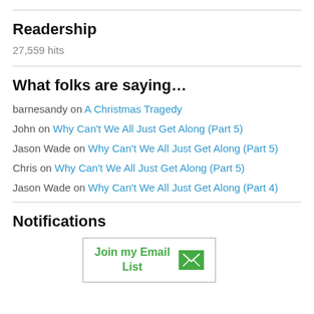Readership
27,559 hits
What folks are saying…
barnesandy on A Christmas Tragedy
John on Why Can't We All Just Get Along (Part 5)
Jason Wade on Why Can't We All Just Get Along (Part 5)
Chris on Why Can't We All Just Get Along (Part 5)
Jason Wade on Why Can't We All Just Get Along (Part 4)
Notifications
[Figure (other): Join my Email List button with green envelope icon]